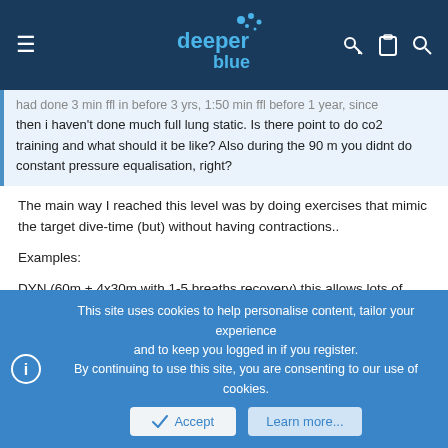deeper blue — website header with hamburger menu, logo, and icons
had done 3 min ffl in before 3 yrs, 1:50 min ffl before 1 year, since then i haven't done much full lung static. Is there point to do co2 training and what should it be like? Also during the 90 m you didnt do constant pressure equalisation, right?
The main way I reached this level was by doing exercises that mimic the target dive-time (but) without having contractions..
Examples:
DYN (60m + 4x30m with 1-5 breaths recovery) this allows lots of CO2/lactic build up but not enough time per hold to start having contractions.. total time = about 3:00
Deep hang: Fin normally to 40-45m (50% my goal) and hang until first urge to breath (not contraction).. eventually after months, my no contractions...
This site uses cookies to help personalise content, tailor your experience and to keep you logged in if you register.
By continuing to use this site, you are consenting to our use of cookies.